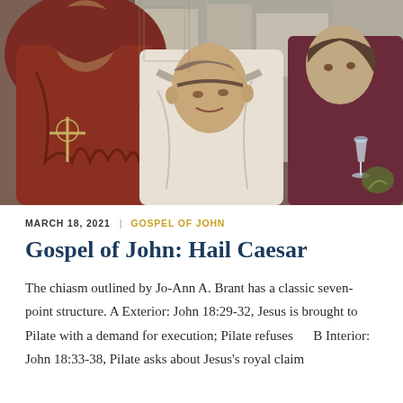[Figure (illustration): A painting depicting three figures: on the left a robed figure in dark red with a crucified figure embroidered on the robe, in the center an older man in pale/white robes looking concerned, and on the right a younger figure in dark maroon holding what appears to be a glass.]
MARCH 18, 2021  |  GOSPEL OF JOHN
Gospel of John: Hail Caesar
The chiasm outlined by Jo-Ann A. Brant has a classic seven-point structure. A Exterior: John 18:29-32, Jesus is brought to Pilate with a demand for execution; Pilate refuses     B Interior: John 18:33-38, Pilate asks about Jesus's royal claim